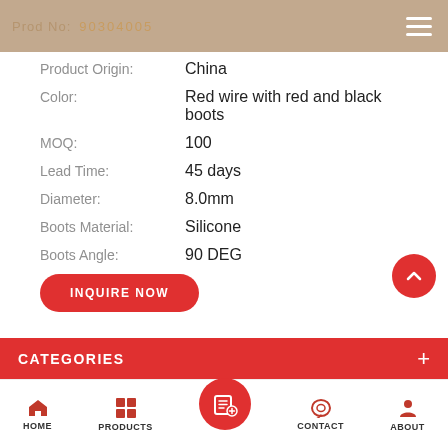Prod No: 90304005
| Field | Value |
| --- | --- |
| Product Origin: | China |
| Color: | Red wire with red and black boots |
| MOQ: | 100 |
| Lead Time: | 45 days |
| Diameter: | 8.0mm |
| Boots Material: | Silicone |
| Boots Angle: | 90 DEG |
INQUIRE NOW
CATEGORIES